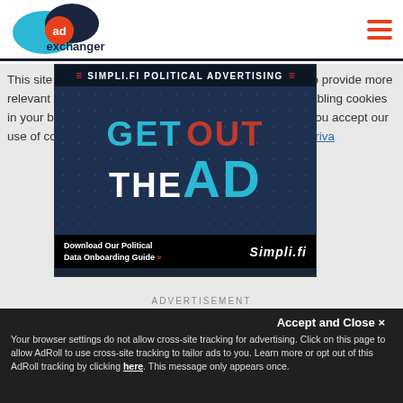[Figure (logo): AdExchanger logo with cyan and dark blue overlapping circles and orange 'ad' text]
[Figure (infographic): Simpli.fi political advertising banner ad with 'GET OUT THE AD' text in cyan, red, and white on dark background with stars, plus 'Download Our Political Data Onboarding Guide' call to action]
This site uses cookies to optimize your experience, and to provide more relevant content and messaging, to learn more about disabling cookies in your browser click here. By continuing to use this site you accept our use of cookies. For more information, view our updated Privacy
ADVERTISEMENT
Accept and Close ✕
Your browser settings do not allow cross-site tracking for advertising. Click on this page to allow AdRoll to use cross-site tracking to tailor ads to you. Learn more or opt out of this AdRoll tracking by clicking here. This message only appears once.